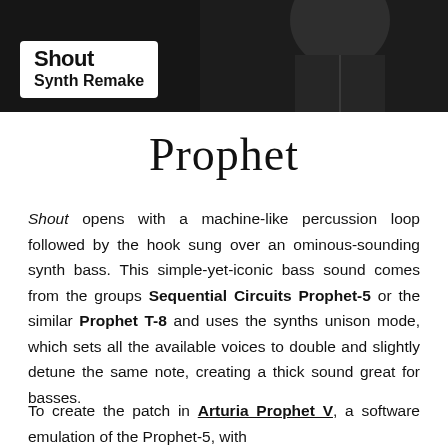[Figure (photo): Black and white image showing a person with a label box overlay reading 'Shout Synth Remake' in white background with bold text]
Prophet
Shout opens with a machine-like percussion loop followed by the hook sung over an ominous-sounding synth bass. This simple-yet-iconic bass sound comes from the groups Sequential Circuits Prophet-5 or the similar Prophet T-8 and uses the synths unison mode, which sets all the available voices to double and slightly detune the same note, creating a thick sound great for basses.
To create the patch in Arturia Prophet V, a software emulation of the Prophet-5, with